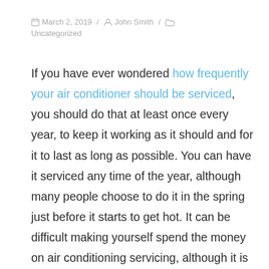March 2, 2019 / John Smith / Uncategorized
If you have ever wondered how frequently your air conditioner should be serviced, you should do that at least once every year, to keep it working as it should and for it to last as long as possible. You can have it serviced any time of the year, although many people choose to do it in the spring just before it starts to get hot. It can be difficult making yourself spend the money on air conditioning servicing, although it is money well spent and of course, it can save you money in the long run. It will